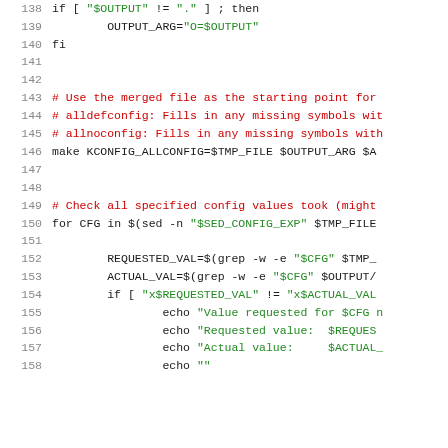[Figure (screenshot): Source code listing in a shell/bash script, lines 138-158, showing conditional logic, comments, and shell commands for kernel configuration merging and validation.]